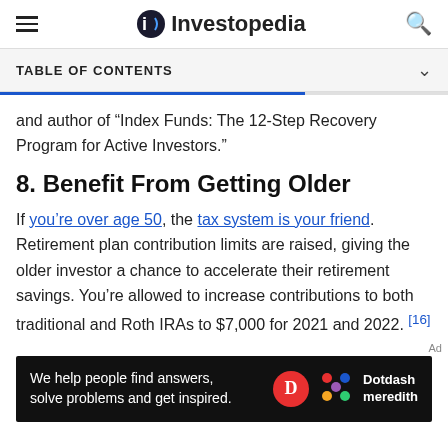Investopedia
TABLE OF CONTENTS
and author of “Index Funds: The 12-Step Recovery Program for Active Investors.”
8. Benefit From Getting Older
If you’re over age 50, the tax system is your friend. Retirement plan contribution limits are raised, giving the older investor a chance to accelerate their retirement savings. You’re allowed to increase contributions to both traditional and Roth IRAs to $7,000 for 2021 and 2022. [16]
[Figure (other): Dotdash Meredith advertisement banner: 'We help people find answers, solve problems and get inspired.']